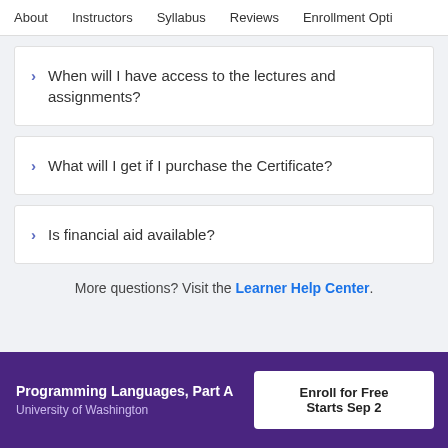About    Instructors    Syllabus    Reviews    Enrollment Opti
When will I have access to the lectures and assignments?
What will I get if I purchase the Certificate?
Is financial aid available?
More questions? Visit the Learner Help Center.
Programming Languages, Part A
University of Washington
Enroll for Free
Starts Sep 2